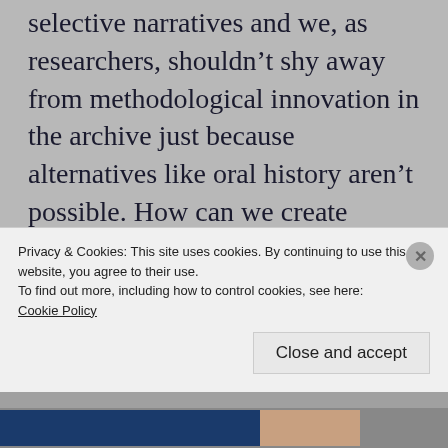selective narratives and we, as researchers, shouldn't shy away from methodological innovation in the archive just because alternatives like oral history aren't possible. How can we create 'collaborative', subversive archives when are historical subjects are no longer alive?
The dialogue between the present and past ran through the discussions that Chakravarty's paper stimulated. Members of
Privacy & Cookies: This site uses cookies. By continuing to use this website, you agree to their use.
To find out more, including how to control cookies, see here:
Cookie Policy
Close and accept